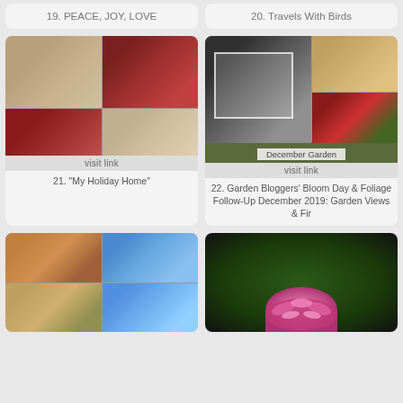19. PEACE, JOY, LOVE
20. Travels With Birds
[Figure (photo): Collage of holiday home interior with festive decorations, sofa, coffee table, Christmas items]
visit link
21. "My Holiday Home"
[Figure (photo): Collage of garden photos featuring bear statues, red berries, autumn foliage, with 'December Garden' label overlay]
December Garden
visit link
22. Garden Bloggers' Bloom Day & Foliage Follow-Up December 2019: Garden Views & Fir
[Figure (photo): Collage of cactus photos: orange flowering cactus, tall saguaro cactus against blue sky]
[Figure (photo): Pink flowers with dark green tropical foliage background]